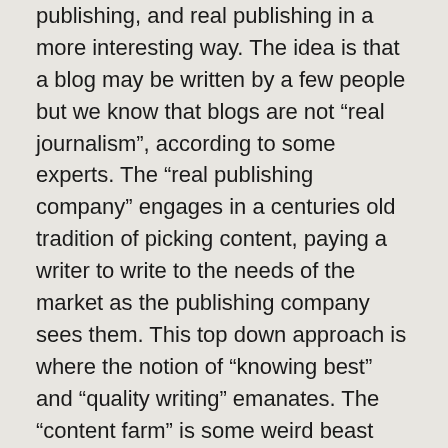publishing, and real publishing in a more interesting way. The idea is that a blog may be written by a few people but we know that blogs are not “real journalism”, according to some experts. The “real publishing company” engages in a centuries old tradition of picking content, paying a writer to write to the needs of the market as the publishing company sees them. This top down approach is where the notion of “knowing best” and “quality writing” emanates. The “content farm” is some weird beast that is worse than a blog and concerned less about “quality” than a traditional publishing company.
Baloney. The “content farm” is an information factory just like units of the Bureau of National Affairs, LexisNexis, West Publishing, and most commercial database companies. But “content farm” is way more suggestive than an “information factory”. What’s